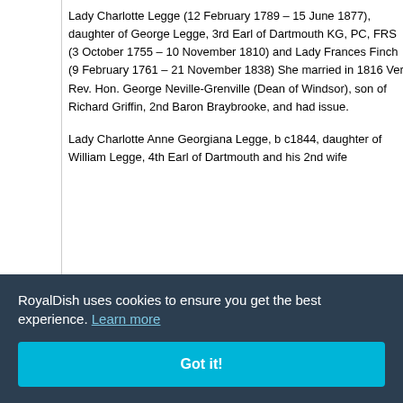Lady Charlotte Legge (12 February 1789 – 15 June 1877), daughter of George Legge, 3rd Earl of Dartmouth KG, PC, FRS (3 October 1755 – 10 November 1810) and Lady Frances Finch (9 February 1761 – 21 November 1838) She married in 1816 Very Rev. Hon. George Neville-Grenville (Dean of Windsor), son of Richard Griffin, 2nd Baron Braybrooke, and had issue.
Lady Charlotte Anne Georgiana Legge, b c1844, daughter of William Legge, 4th Earl of Dartmouth and his 2nd wife
17), 1st Earl 3 March ntil 1769 69 and nd Jane Cole, 2nd
RoyalDish uses cookies to ensure you get the best experience. Learn more
Got it!